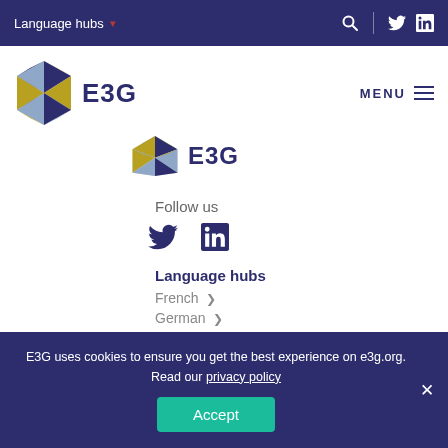Language hubs
[Figure (logo): E3G hexagonal logo with triangular mosaic pattern in navy, gold, and light blue, followed by E3G text]
[Figure (logo): E3G secondary/scrolled logo — partial hexagonal mosaic with E3G text in navy]
Follow us
[Figure (other): Twitter and LinkedIn social media icons]
Language hubs
French >
German >
E3G uses cookies to ensure you get the best experience on e3g.org. Read our privacy policy
Accept